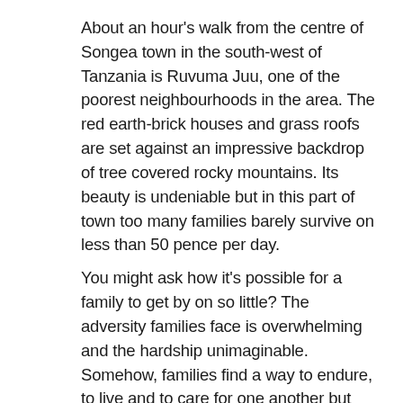About an hour's walk from the centre of Songea town in the south-west of Tanzania is Ruvuma Juu, one of the poorest neighbourhoods in the area. The red earth-brick houses and grass roofs are set against an impressive backdrop of tree covered rocky mountains. Its beauty is undeniable but in this part of town too many families barely survive on less than 50 pence per day. You might ask how it's possible for a family to get by on so little? The adversity families face is overwhelming and the hardship unimaginable. Somehow, families find a way to endure, to live and to care for one another but this everyday struggle for a